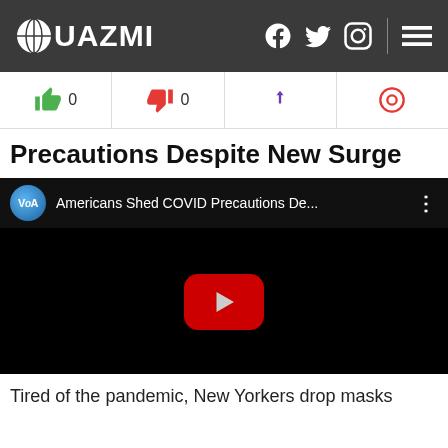UAZMI
Precautions Despite New Surge
[Figure (screenshot): Embedded YouTube video player showing VOA video titled 'Americans Shed COVID Precautions De...' with a dark/black background and red YouTube play button in the center.]
Tired of the pandemic, New Yorkers drop masks